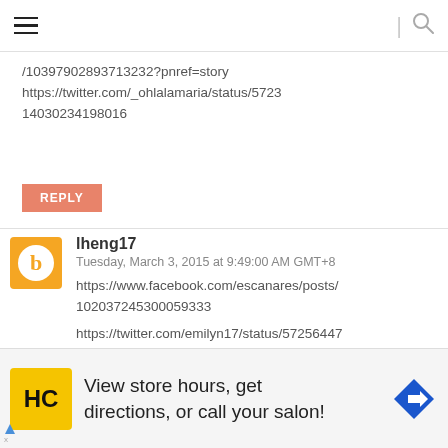Navigation bar with hamburger menu and search icon
/10397902893713232?pnref=story https://twitter.com/_ohlalamaria/status/572314030234198016
REPLY
lheng17
Tuesday, March 3, 2015 at 9:49:00 AM GMT+8
https://www.facebook.com/escanares/posts/102037245300059333 https://twitter.com/emilyn17/status/57256447
[Figure (screenshot): Advertisement bar at the bottom with HC salon logo, text 'View store hours, get directions, or call your salon!', and a blue navigation arrow icon]